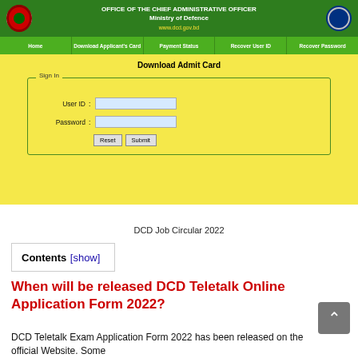[Figure (screenshot): Bangladesh government DCD (Directorate of Civil Aviation Administration) website screenshot showing a green header with ministry logos, navigation bar with menu items (Home, Download Applicant's Card, Payment Status, Recover User ID, Recover Password), yellow content area with Download Admit Card heading and a Sign In form containing User ID and Password fields with Reset and Submit buttons]
DCD Job Circular 2022
Contents [show]
When will be released DCD Teletalk Online Application Form 2022?
DCD Teletalk Exam Application Form 2022 has been released on the official Website. Some